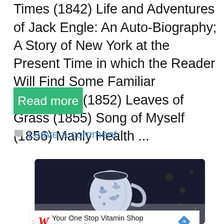Times (1842) Life and Adventures of Jack Engle: An Auto-Biography; A Story of New York at the Present Time in which the Reader Will Find Some Familiar Characters (1852) Leaves of Grass (1855) Song of Myself (1856) Manly Health ...
Read more
Leave a comment
[Figure (photo): A blue and white floral patterned ceramic mug on a dark background]
[Figure (other): Advertisement for Walgreens Photo: 'Your One Stop Vitamin Shop' with Walgreens W logo and blue diamond arrow icon]